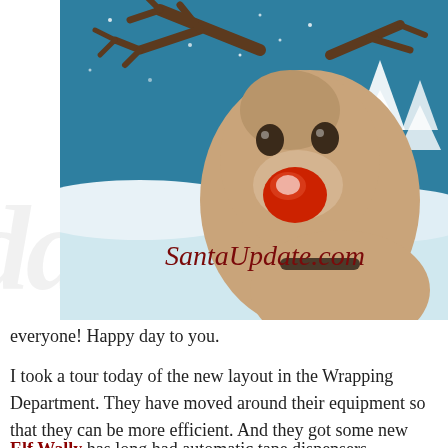[Figure (illustration): Cartoon illustration of Rudolph the red-nosed reindeer against a snowy blue background with white trees. The reindeer has large brown antlers, a glowing red nose, and is looking at the viewer. The text 'SantaUpdate.com' appears in dark red cursive script overlaid on the image.]
everyone! Happy day to you.
I took a tour today of the new layout in the Wrapping Department. They have moved around their equipment so that they can be more efficient. And they got some new stuff too.
Elf Wally has long had automatic tape dispensers.